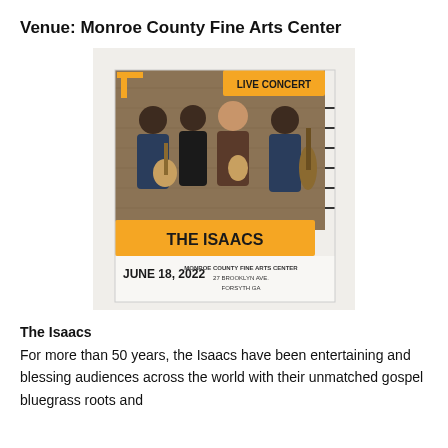Venue: Monroe County Fine Arts Center
[Figure (photo): Concert promotional poster for The Isaacs at Monroe County Fine Arts Center on June 18, 2022. Features a photo of four musicians (three women and one man) with instruments including guitar and double bass. Yellow banner reads 'LIVE CONCERT' and 'THE ISAACS'. Text reads 'JUNE 18, 2022 MONROE COUNTY FINE ARTS CENTER 27 BROOKLYN AVE. FORSYTH GA'.]
The Isaacs
For more than 50 years, the Isaacs have been entertaining and blessing audiences across the world with their unmatched gospel bluegrass roots and